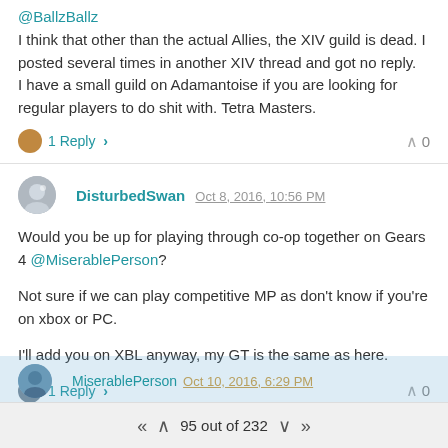@BallzBallz
I think that other than the actual Allies, the XIV guild is dead. I posted several times in another XIV thread and got no reply.
I have a small guild on Adamantoise if you are looking for regular players to do shit with. Tetra Masters.
1 Reply  0
DisturbedSwan Oct 8, 2016, 10:56 PM
Would you be up for playing through co-op together on Gears 4 @MiserablePerson?
Not sure if we can play competitive MP as don't know if you're on xbox or PC.
I'll add you on XBL anyway, my GT is the same as here.
1 Reply  0
MiserablePerson Oct 10, 2016, 6:29 PM
95 out of 232